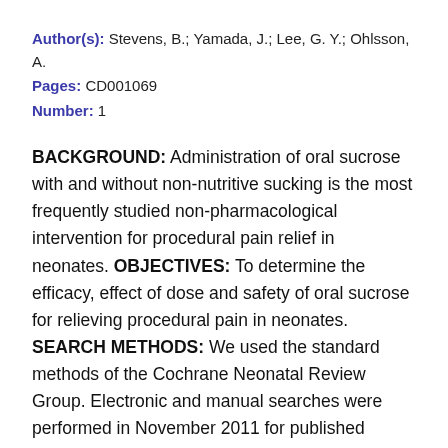Author(s): Stevens, B.; Yamada, J.; Lee, G. Y.; Ohlsson, A.
Pages: CD001069
Number: 1
BACKGROUND: Administration of oral sucrose with and without non-nutritive sucking is the most frequently studied non-pharmacological intervention for procedural pain relief in neonates. OBJECTIVES: To determine the efficacy, effect of dose and safety of oral sucrose for relieving procedural pain in neonates. SEARCH METHODS: We used the standard methods of the Cochrane Neonatal Review Group. Electronic and manual searches were performed in November 2011 for published randomised controlled tri... (RCTs) in MEDLINE (1950 to November 2011...